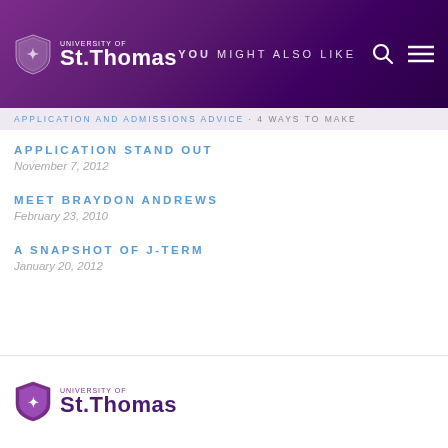University of St. Thomas — YOU MIGHT ALSO LIKE
APPLICATION AND ADMISSIONS ADVICE · 4 WAYS TO MAKE
APPLICATION STAND OUT
November 7, 2012
MEET BRAYDON ANDREWS
February 23, 2010
A SNAPSHOT OF J-TERM
January 20, 2012
[Figure (logo): University of St. Thomas logo in footer]